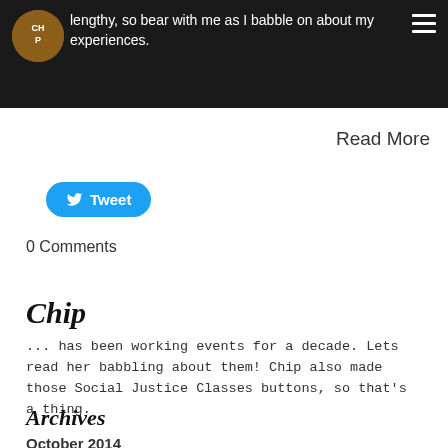lengthy, so bear with me as I babble on about my experiences.
Read More
[Figure (other): Twitter Tweet button (blue pill-shaped button with bird icon and 'Tweet' text)]
0 Comments
Chip
... has been working events for a decade. Lets read her babbling about them! Chip also made those Social Justice Classes buttons, so that's a thing.
Archives
October 2014